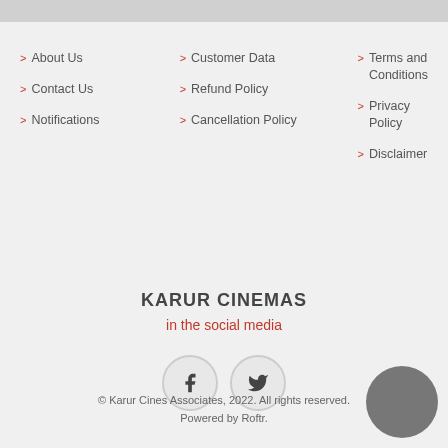> About Us
> Contact Us
> Notifications
> Customer Data
> Refund Policy
> Cancellation Policy
> Terms and Conditions
> Privacy Policy
> Disclaimer
KARUR CINEMAS
in the social media
[Figure (illustration): Facebook and Twitter social media icon circles]
© Karur Cines Associates, 2022. All rights reserved. Powered by Roftr.